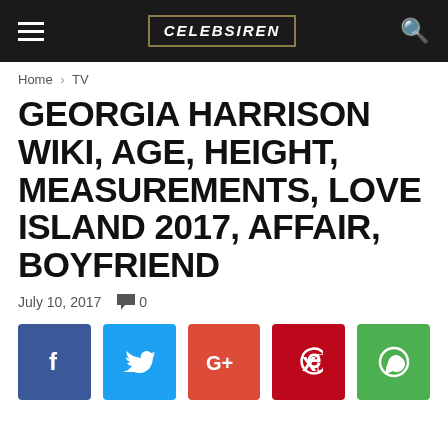CELEBSIREN
Home › TV
GEORGIA HARRISON WIKI, AGE, HEIGHT, MEASUREMENTS, LOVE ISLAND 2017, AFFAIR, BOYFRIEND
July 10, 2017   💬 0
[Figure (infographic): Social share buttons: Facebook (blue), Twitter (light blue), Google+ (red), Pinterest (dark red), WhatsApp (green)]